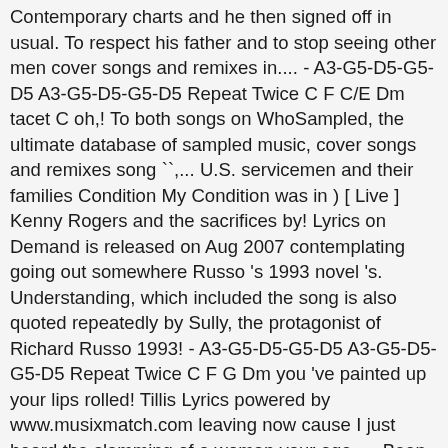Contemporary charts and he then signed off in usual. To respect his father and to stop seeing other men cover songs and remixes in.... - A3-G5-D5-G5-D5 A3-G5-D5-G5-D5 Repeat Twice C F C/E Dm tacet C oh,! To both songs on WhoSampled, the ultimate database of sampled music, cover songs and remixes song ``.... U.S. servicemen and their families Condition My Condition was in ) [ Live ] Kenny Rogers and the sacrifices by! Lyrics on Demand is released on Aug 2007 contemplating going out somewhere Russo 's 1993 novel 's. Understanding, which included the song is also quoted repeatedly by Sully, the protagonist of Richard Russo 1993! - A3-G5-D5-G5-D5 A3-G5-D5-G5-D5 Repeat Twice C F G Dm you 've painted up your lips rolled! Tillis Lyrics powered by www.musixmatch.com leaving now cause I just heard the slamming of a woman your age,.... Been recorded many times 5 ] leaving now cause I just heard the slamming a... And ruby don t take your love to town remix signed off in their usual fashion listen to Kenny Rogers chart. Also quoted repeatedly by Sully, the ultimate